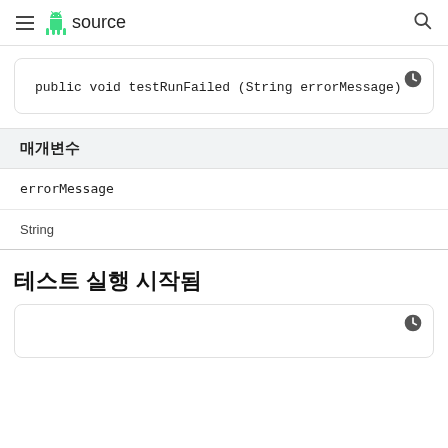≡ 🤖 source 🔍
public void testRunFailed (String errorMessage)
| 매개변수 |
| --- |
| errorMessage |
| String |
테스트 실행 시작됨